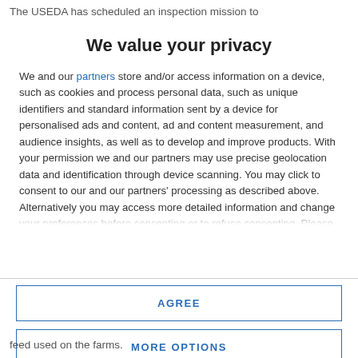The USEDA has scheduled an inspection mission to
We value your privacy
We and our partners store and/or access information on a device, such as cookies and process personal data, such as unique identifiers and standard information sent by a device for personalised ads and content, ad and content measurement, and audience insights, as well as to develop and improve products. With your permission we and our partners may use precise geolocation data and identification through device scanning. You may click to consent to our and our partners' processing as described above. Alternatively you may access more detailed information and change your preferences before consenting or to refuse consenting. Please note that some processing of your personal data may not require your consent, but you have a right to
AGREE
MORE OPTIONS
feed used on the farms.